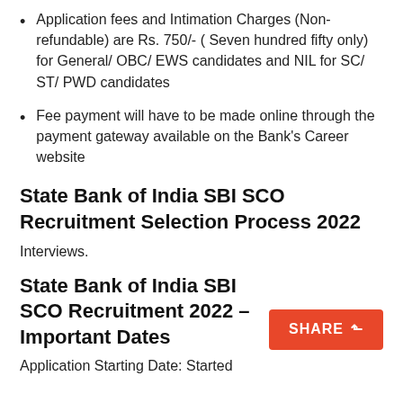Application fees and Intimation Charges (Non-refundable) are Rs. 750/- ( Seven hundred fifty only) for General/ OBC/ EWS candidates and NIL for SC/ ST/ PWD candidates
Fee payment will have to be made online through the payment gateway available on the Bank's Career website
State Bank of India SBI SCO Recruitment Selection Process 2022
Interviews.
State Bank of India SBI SCO Recruitment 2022 – Important Dates
Application Starting Date: Started